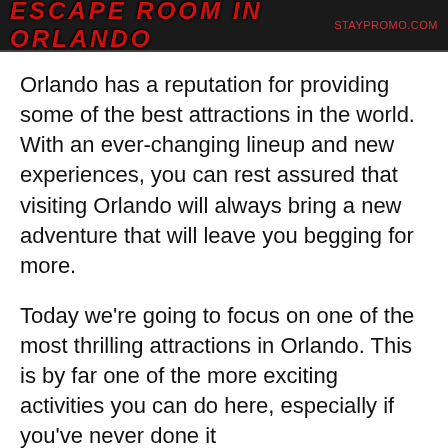ESCAPE ROOM IN ORLANDO | staypromo.com
Orlando has a reputation for providing some of the best attractions in the world. With an ever-changing lineup and new experiences, you can rest assured that visiting Orlando will always bring a new adventure that will leave you begging for more.
Today we're going to focus on one of the most thrilling attractions in Orlando. This is by far one of the more exciting activities you can do here, especially if you've never done it